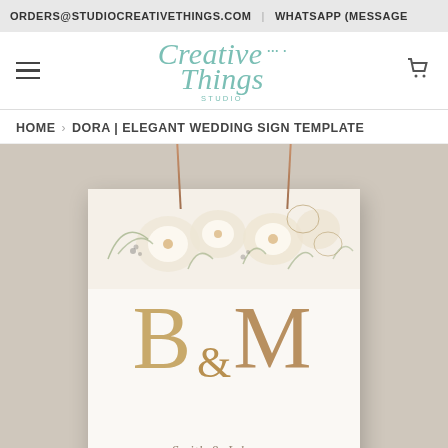ORDERS@STUDIOCREATIVETHINGS.COM | WHATSAPP (MESSAGE
[Figure (logo): Creative Things Studio logo in teal/mint italic script font]
HOME › DORA | ELEGANT WEDDING SIGN TEMPLATE
[Figure (photo): Product mockup of an elegant wedding sign template called 'Dora' featuring white and gold floral arrangements at the top, large gold letter initials B & M in the center, and decorative script text below, hanging from rose gold strings against a neutral beige background.]